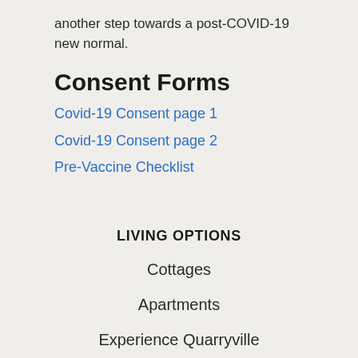another step towards a post-COVID-19 new normal.
Consent Forms
Covid-19 Consent page 1
Covid-19 Consent page 2
Pre-Vaccine Checklist
LIVING OPTIONS
Cottages
Apartments
Experience Quarryville